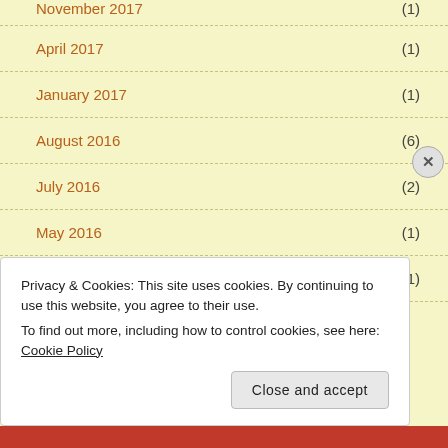November 2017 (1)
April 2017 (1)
January 2017 (1)
August 2016 (6)
July 2016 (2)
May 2016 (1)
November 2015 (1)
Privacy & Cookies: This site uses cookies. By continuing to use this website, you agree to their use.
To find out more, including how to control cookies, see here: Cookie Policy
Close and accept